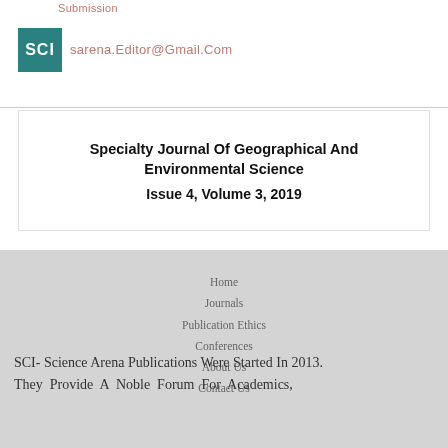Submission
SCI
sarena.Editor@Gmail.Com
Specialty Journal Of Geographical And Environmental Science
Issue 4, Volume 3, 2019
Home
Journals
Publication Ethics
Conferences
About Us
Contact Us
SCI- Science Arena Publications Were Started In 2013. They Provide A Noble Forum For Academics,